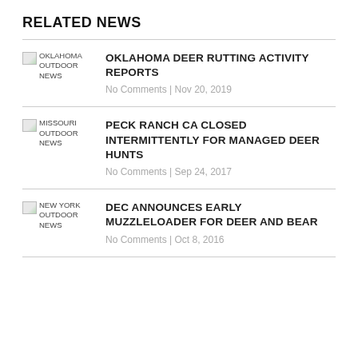RELATED NEWS
OKLAHOMA DEER RUTTING ACTIVITY REPORTS | No Comments | Nov 20, 2019
PECK RANCH CA CLOSED INTERMITTENTLY FOR MANAGED DEER HUNTS | No Comments | Sep 24, 2017
DEC ANNOUNCES EARLY MUZZLELOADER FOR DEER AND BEAR | No Comments | Oct 8, 2016